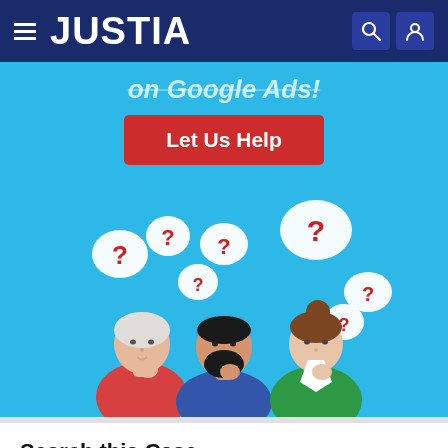JUSTIA
[Figure (illustration): Justia website screenshot showing navigation bar with hamburger menu, JUSTIA logo, search and user icons. Below is a blue banner with partial text 'on Google Ads!', a red 'Let Us Help' button, and an illustration of three people thinking with question mark speech bubbles.]
Search this Case
Google Scholar
Google Books
Legal Blogs
Google Web
Bing Web